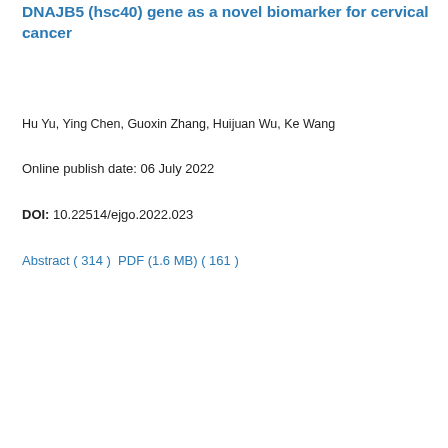DNAJB5 (hsc40) gene as a novel biomarker for cervical cancer
Hu Yu, Ying Chen, Guoxin Zhang, Huijuan Wu, Ke Wang
Online publish date: 06 July 2022
DOI: 10.22514/ejgo.2022.023
Abstract ( 314 )  PDF (1.6 MB) ( 161 )